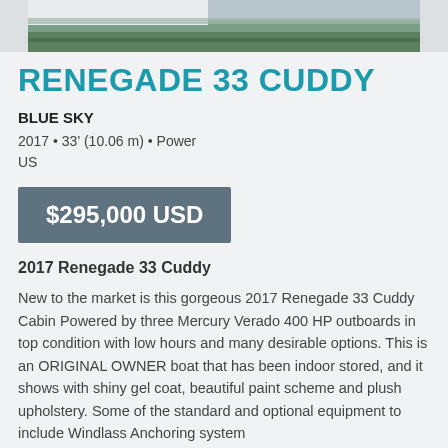[Figure (photo): Partial photo of a boat on water, showing the stern/deck area near a dock with green water below]
RENEGADE 33 CUDDY
BLUE SKY
2017 • 33' (10.06 m) • Power
US
$295,000 USD
2017 Renegade 33 Cuddy
New to the market is this gorgeous 2017 Renegade 33 Cuddy Cabin Powered by three Mercury Verado 400 HP outboards in top condition with low hours and many desirable options. This is an ORIGINAL OWNER boat that has been indoor stored, and it shows with shiny gel coat, beautiful paint scheme and plush upholstery. Some of the standard and optional equipment to include Windlass Anchoring system
Read more